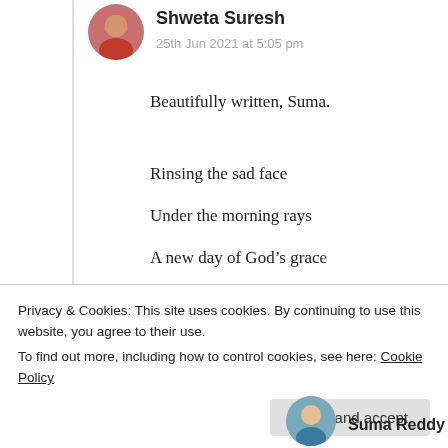[Figure (photo): Circular avatar photo of Shweta Suresh]
Shweta Suresh
25th Jun 2021 at 5:05 pm
Beautifully written, Suma.
Rinsing the sad face
Under the morning rays
A new day of God’s grace
I loved this!
★ Liked by 3 people
Privacy & Cookies: This site uses cookies. By continuing to use this website, you agree to their use.
To find out more, including how to control cookies, see here: Cookie Policy
Close and accept
[Figure (photo): Circular avatar photo of Suma Reddy]
Suma Reddy